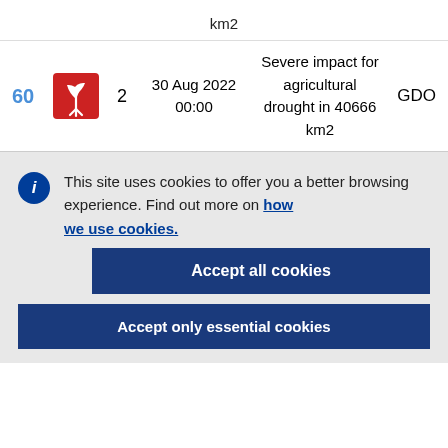| # | Icon | Level | Date/Time | Description | Source |
| --- | --- | --- | --- | --- | --- |
|  |  |  | km2 |  |  |
| 60 | [icon] | 2 | 30 Aug 2022 00:00 | Severe impact for agricultural drought in 40666 km2 | GDO |
This site uses cookies to offer you a better browsing experience. Find out more on how we use cookies.
Accept all cookies
Accept only essential cookies